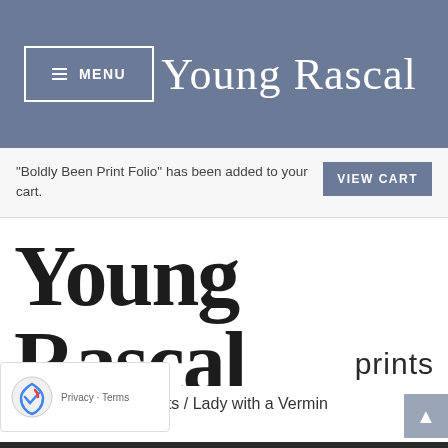☰ MENU  Young Rascal
“Boldly Been Print Folio” has been added to your cart.
[Figure (logo): Young Rascal prints logo in large handwritten/brush script font with 'prints' in sans-serif below right]
nts / Lady with a Vermin